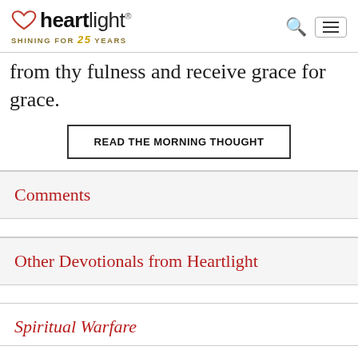heartlight® SHINING FOR 25 YEARS
from thy fulness and receive grace for grace.
READ THE MORNING THOUGHT
Comments
Other Devotionals from Heartlight
Spiritual Warfare